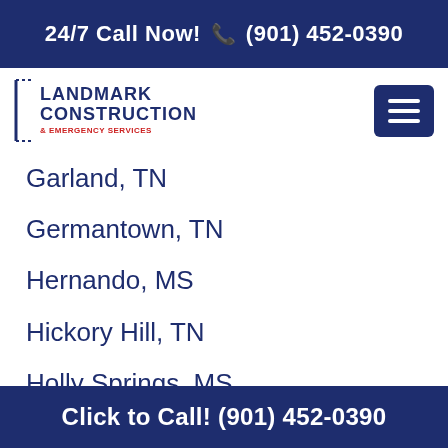24/7 Call Now! (901) 452-0390
[Figure (logo): Landmark Construction & Emergency Services logo with bracket border on left side]
Garland, TN
Germantown, TN
Hernando, MS
Hickory Hill, TN
Holly Springs, MS
Horn Lake, MS
Jago, MS
Kerrville, TN
Click to Call! (901) 452-0390